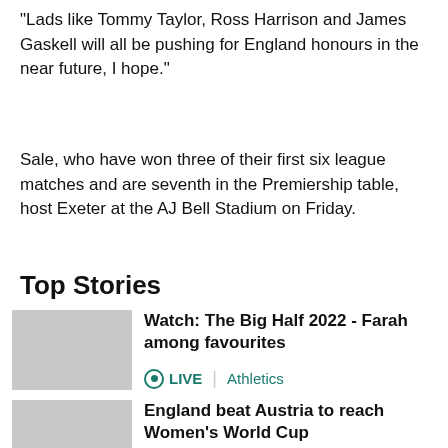"Lads like Tommy Taylor, Ross Harrison and James Gaskell will all be pushing for England honours in the near future, I hope."
Sale, who have won three of their first six league matches and are seventh in the Premiership table, host Exeter at the AJ Bell Stadium on Friday.
Top Stories
[Figure (photo): Runner wearing FARAH bib number at a road race event, arms outstretched]
Watch: The Big Half 2022 - Farah among favourites
LIVE | Athletics
[Figure (photo): England women's football players celebrating]
England beat Austria to reach Women's World Cup